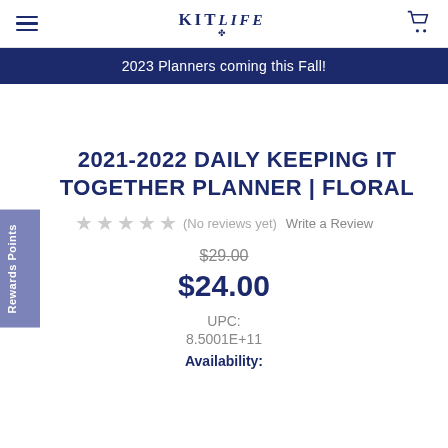KitLife — Navigation bar with hamburger menu, logo, and cart
2023 Planners coming this Fall!
Rewards Points
2021-2022 DAILY KEEPING IT TOGETHER PLANNER | FLORAL
★★★★★ (No reviews yet) Write a Review
$29.00
$24.00
UPC:
8.5001E+11
Availability: